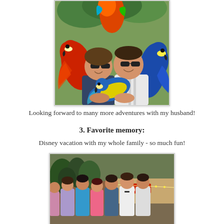[Figure (photo): A couple posing with multiple colorful parrots/macaws — a red macaw on the woman's shoulder, a blue hyacinth macaw on the man's arm, and a blue-and-gold macaw being held in front. Both people are wearing sunglasses and smiling.]
Looking forward to many more adventures with my husband!
3. Favorite memory:
Disney vacation with my whole family - so much fun!
[Figure (photo): A group photo of a family standing in front of what appears to be a Disney park restaurant/venue at dusk, with trees and decorative lights in the background. Several adults and possibly teenagers are posing together.]